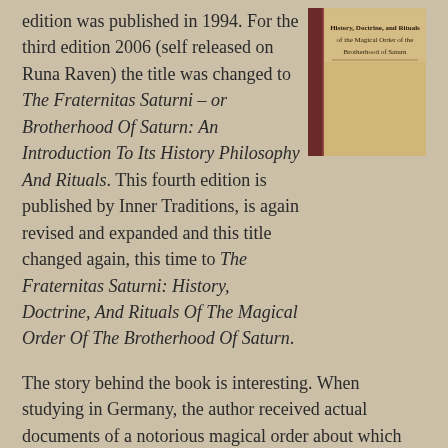edition was published in 1994. For the third edition 2006 (self released on Runa Raven) the title was changed to The Fraternitas Saturni – or Brotherhood Of Saturn: An Introduction To Its History Philosophy And Rituals. This fourth edition is published by Inner Traditions, is again revised and expanded and this title changed again, this time to The Fraternitas Saturni: History, Doctrine, And Rituals Of The Magical Order Of The Brotherhood Of Saturn.
[Figure (illustration): Book cover of The Fraternitas Saturni: History, Doctrine, and Rituals of the Magical Order of the Brotherhood of Saturn. Gold/tan cover with a dark vertical spine stripe.]
The story behind the book is interesting. When studying in Germany, the author received actual documents of a notorious magical order about which not much had been published, certainly not in another language than German, including history and rituals. There are still people working under the name and Flowers got permission to publish the information. The rituals are not those that are in use nowadays anyway.
The Fraternitas Saturni is (of course) best known for its links